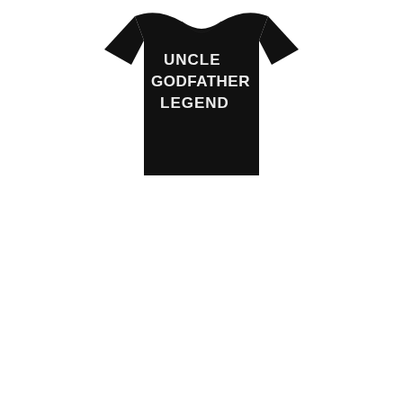[Figure (photo): A black t-shirt displayed against a white background. The shirt has bold white text on the chest reading 'UNCLE GODFATHER LEGEND' in large uppercase letters with a slightly distressed/worn style.]